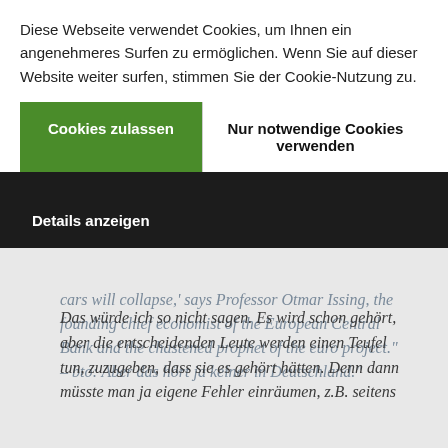Diese Webseite verwendet Cookies, um Ihnen ein angenehmeres Surfen zu ermöglichen. Wenn Sie auf dieser Website weiter surfen, stimmen Sie der Cookie-Nutzung zu.
Cookies zulassen
Nur notwendige Cookies verwenden
Details anzeigen
Wolfgang Selig
cars will collapse,' says Professor Otmar Issing, the founding chief economist of the European Central Bank and the chastened prophet of the euro project." – bto: Aber das hört ja keiner in Deutschland."
Das würde ich so nicht sagen. Es wird schon gehört, aber die entscheidenden Leute werden einen Teufel tun, zuzugeben, dass sie es gehört hätten. Denn dann müsste man ja eigene Fehler einräumen, z.B. seitens